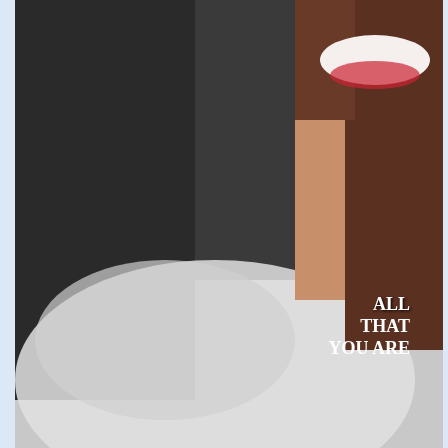[Figure (photo): Close-up photo of a smiling woman with brown hair, snow/powder spray in foreground, with text overlay reading 'ALL THAT YOU ARE']
Posted by Cal's Canadian Cave of Coolness at 6:35 PM  6 comments
Newer Posts    Home    Older Pos...
Subscribe to: Posts (Atom)
Counter
01967690
Analytics